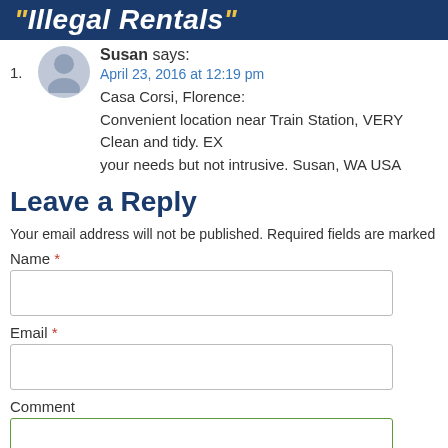"Illegal Rentals"
1. Susan says: April 23, 2016 at 12:19 pm
Casa Corsi, Florence:
Convenient location near Train Station, VERY Clean and tidy. EX... your needs but not intrusive. Susan, WA USA
Leave a Reply
Your email address will not be published. Required fields are marked
Name *
Email *
Comment